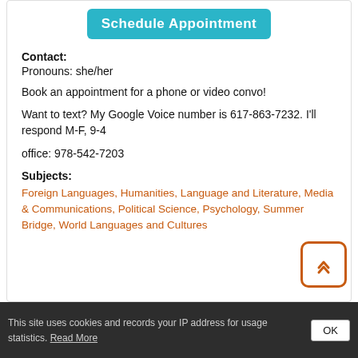[Figure (other): Teal/cyan Schedule Appointment button at top of card]
Contact:
Pronouns: she/her
Book an appointment for a phone or video convo!
Want to text? My Google Voice number is 617-863-7232. I'll respond M-F, 9-4
office: 978-542-7203
Subjects:
Foreign Languages, Humanities, Language and Literature, Media & Communications, Political Science, Psychology, Summer Bridge, World Languages and Cultures
This site uses cookies and records your IP address for usage statistics. Read More